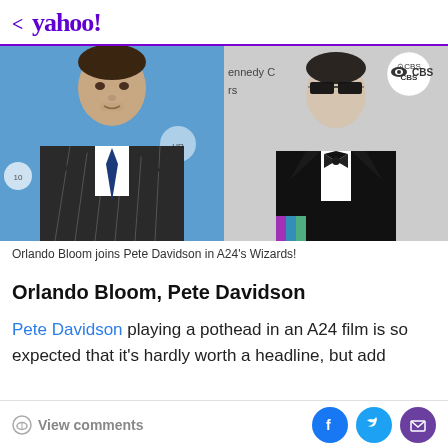< yahoo!
[Figure (photo): Side-by-side photos: left shows Orlando Bloom in a pinstripe suit with a blue tie against a blue background; right shows Pete Davidson in a black tuxedo with sunglasses against a CBS backdrop]
Orlando Bloom joins Pete Davidson in A24's Wizards!
Orlando Bloom, Pete Davidson
Pete Davidson playing a pothead in an A24 film is so expected that it's hardly worth a headline, but add
View comments | Share on Facebook, Twitter, Mail